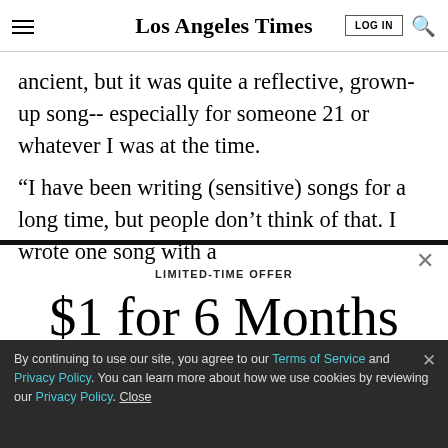Los Angeles Times
ancient, but it was quite a reflective, grown-up song-- especially for someone 21 or whatever I was at the time.
“I have been writing (sensitive) songs for a long time, but people don’t think of that. I wrote one song with a
LIMITED-TIME OFFER
$1 for 6 Months
SUBSCRIBE NOW
By continuing to use our site, you agree to our Terms of Service and Privacy Policy. You can learn more about how we use cookies by reviewing our Privacy Policy. Close